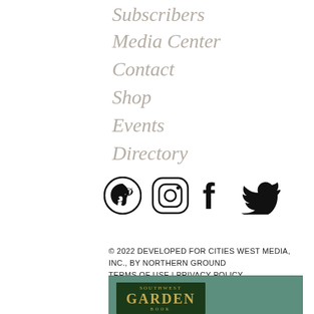Subscribers
Media Center
Contact
Shop
Events
Directory
[Figure (illustration): Social media icons: Pinterest, Instagram, Facebook, Twitter]
© 2022 DEVELOPED FOR CITIES WEST MEDIA, INC., BY NORTHERN GROUND
TERMS OF USE  |  PRIVACY POLICY
[Figure (photo): Partial image of Southwest Garden Book cover with green foliage background]